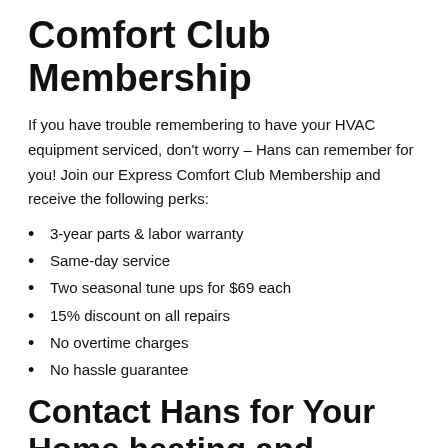Comfort Club Membership
If you have trouble remembering to have your HVAC equipment serviced, don’t worry – Hans can remember for you! Join our Express Comfort Club Membership and receive the following perks:
3-year parts & labor warranty
Same-day service
Two seasonal tune ups for $69 each
15% discount on all repairs
No overtime charges
No hassle guarantee
Contact Hans for Your Home Heating and...